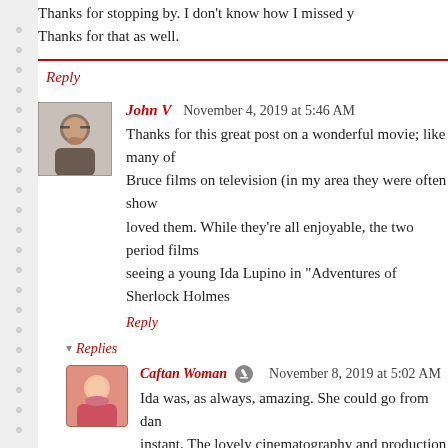Thanks for stopping by. I don't know how I missed you. Thanks for that as well.
Reply
John V  November 4, 2019 at 5:46 AM
Thanks for this great post on a wonderful movie; like many of Bruce films on television (in my area they were often shown loved them. While they're all enjoyable, the two period films seeing a young Ida Lupino in "Adventures of Sherlock Holmes.
Reply
▾ Replies
Caftan Woman  November 8, 2019 at 5:02 AM
Ida was, as always, amazing. She could go from dan instant. The lovely cinematography and production v exquisite.
Reply